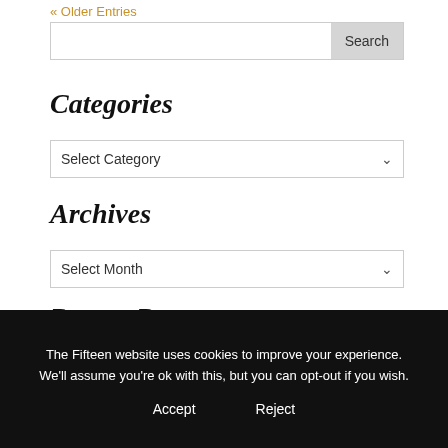« Older Entries
Search
Categories
Select Category
Archives
Select Month
Recent Posts
Guilherme Ribeiro's PKS
The Fifteen website uses cookies to improve your experience. We'll assume you're ok with this, but you can opt-out if you wish.
Accept
Reject